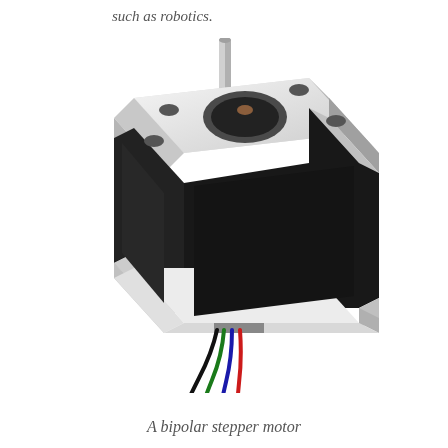such as robotics.
[Figure (illustration): 3D isometric illustration of a bipolar stepper motor (NEMA-style). The motor has a square silver/grey top face with four rounded corners and four mounting holes (dark circles). A metallic cylindrical shaft protrudes from the center top. The main body is black/dark with grey side trim at top and bottom. Four colored wires (black, green, blue, red) exit from the bottom front of the motor body.]
A bipolar stepper motor